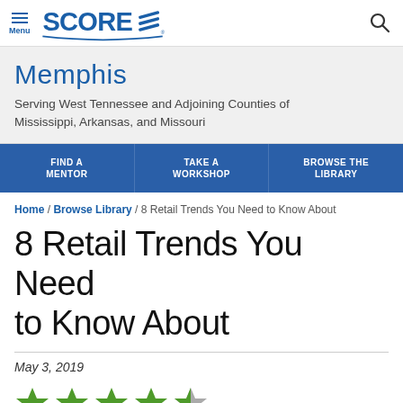SCORE Memphis - Serving West Tennessee and Adjoining Counties of Mississippi, Arkansas, and Missouri
Memphis
Serving West Tennessee and Adjoining Counties of Mississippi, Arkansas, and Missouri
FIND A MENTOR | TAKE A WORKSHOP | BROWSE THE LIBRARY
Home / Browse Library / 8 Retail Trends You Need to Know About
8 Retail Trends You Need to Know About
May 3, 2019
[Figure (illustration): 4.5 out of 5 star rating shown as green stars with last star half-filled gray]